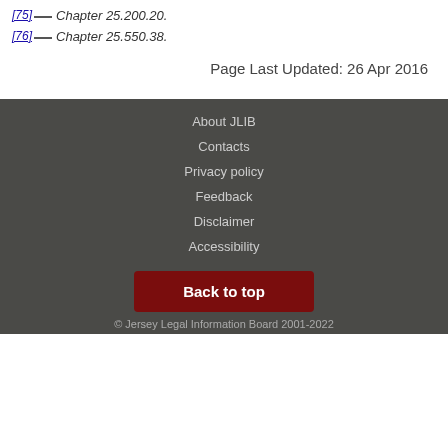[75] — Chapter 25.200.20.
[76] — Chapter 25.550.38.
Page Last Updated: 26 Apr 2016
About JLIB
Contacts
Privacy policy
Feedback
Disclaimer
Accessibility
Back to top
© Jersey Legal Information Board 2001-2022